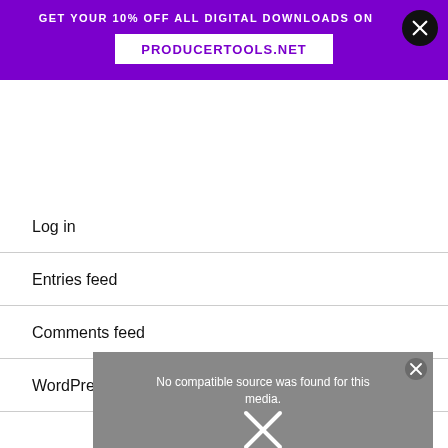GET YOUR 10% OFF ALL DIGITAL DOWNLOADS ON PRODUCERTOOLS.NET
Log in
Entries feed
Comments feed
WordPress.org
[Figure (screenshot): Video player placeholder showing 'No compatible source was found for this media.' with a close button and an X icon. Bottom text reads 'GET UP WITH 2 FOR']